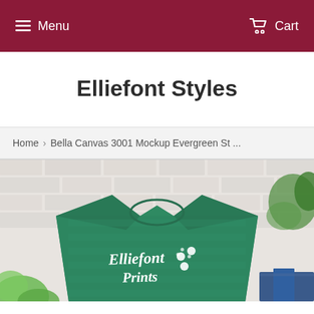Menu   Cart
Elliefont Styles
Home › Bella Canvas 3001 Mockup Evergreen St ...
[Figure (photo): A green Bella Canvas 3001 t-shirt with 'Elliefont Prints' text and paw print designs, laid flat against a white brick wall background with some greenery and denim visible at the edges.]